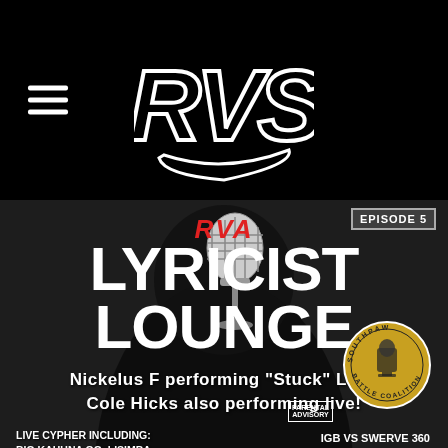RVS (logo)
[Figure (photo): Promotional flyer for RVA Lyricist Lounge Episode 5 featuring a performer with a vintage microphone, dark background. Shows event details including performers Nickelus F performing 'Stuck' Live and Cole Hicks also performing live, live cypher lineup, Southpaw Battle Coalition cypher, date Jun 30 7PM, $15 admission, IGB vs Swerve 360 battle.]
RVA LYRICIST LOUNGE
Nickelus F performing "Stuck" Live! Cole Hicks also performing live!
LIVE CYPHER INCLUDING: BIG KAHUNA OG, LISIMBA, PEEDY WESTRO, KRAZIQUE, A'MERE FRESH, REPPA TON AND MORE!
SPECIAL SOUTHPAW BATTLE COALITION CYPHER
30 OPEN CYPHER SLOTS!!
JUN 30 | 7PM $15 ADMISSION
IGB VS SWERVE 360